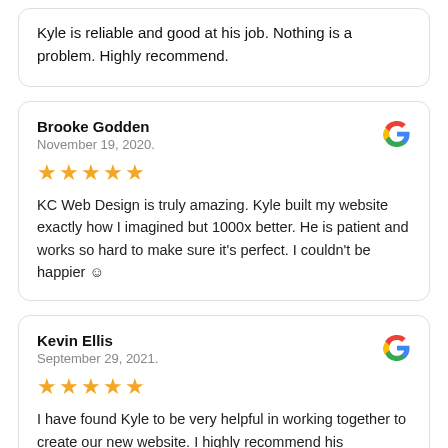Kyle is reliable and good at his job. Nothing is a problem. Highly recommend.
Brooke Godden
November 19, 2020.
★★★★★
KC Web Design is truly amazing. Kyle built my website exactly how I imagined but 1000x better. He is patient and works so hard to make sure it's perfect. I couldn't be happier ☺
Kevin Ellis
September 29, 2021.
★★★★★
I have found Kyle to be very helpful in working together to create our new website. I highly recommend his services.